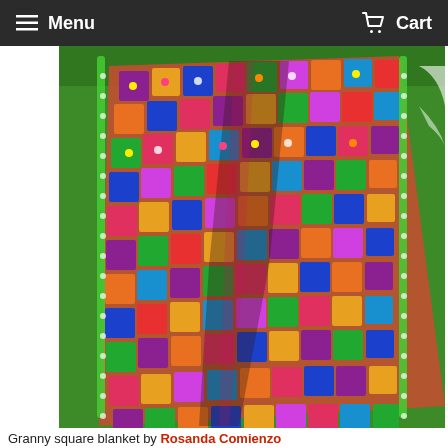Menu  Cart
[Figure (photo): A colorful crocheted granny square blanket laid out on green grass, featuring multicolored floral squares with a bright green border.]
Granny square blanket by Rosanda Comienzo